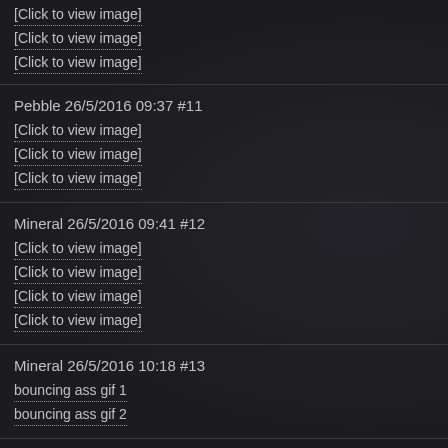[Figure (other): [Click to view image]]
[Figure (other): [Click to view image]]
[Figure (other): [Click to view image]]
Pebble 26/5/2016 09:37 #11
[Figure (other): [Click to view image]]
[Figure (other): [Click to view image]]
[Figure (other): [Click to view image]]
Mineral 26/5/2016 09:41 #12
[Figure (other): [Click to view image]]
[Figure (other): [Click to view image]]
[Figure (other): [Click to view image]]
[Figure (other): [Click to view image]]
Mineral 26/5/2016 10:18 #13
bouncing ass gif 1
bouncing ass gif 2
Mineral 26/5/2016 10:26 #14
[Figure (other): [Click to view image]]
[Figure (other): [Click to view image]]